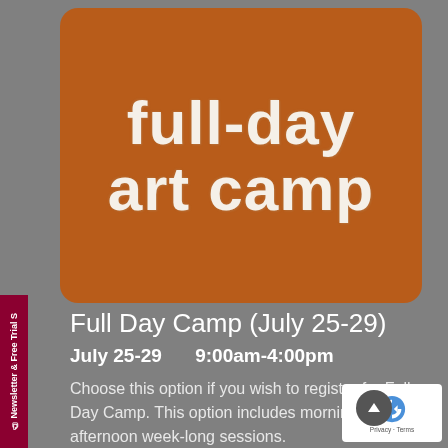[Figure (illustration): Orange rounded rectangle card with decorative chalk-style text reading 'Full-Day art camp' on a grey background]
Full Day Camp (July 25-29)
July 25-29    9:00am-4:00pm
Choose this option if you wish to register for Full Day Camp. This option includes morning and afternoon week-long sessions.
Newsletter & Free Trial S